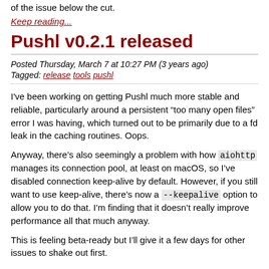of the issue below the cut.
Keep reading...
Pushl v0.2.1 released
Posted Thursday, March 7 at 10:27 PM (3 years ago)
Tagged: release tools pushl
I've been working on getting Pushl much more stable and reliable, particularly around a persistent “too many open files” error I was having, which turned out to be primarily due to a fd leak in the caching routines. Oops.
Anyway, there’s also seemingly a problem with how aiohttp manages its connection pool, at least on macOS, so I’ve disabled connection keep-alive by default. However, if you still want to use keep-alive, there’s now a --keepalive option to allow you to do that. I’m finding that it doesn’t really improve performance all that much anyway.
This is feeling beta-ready but I’ll give it a few days for other issues to shake out first.
Pushl v0.3.0...